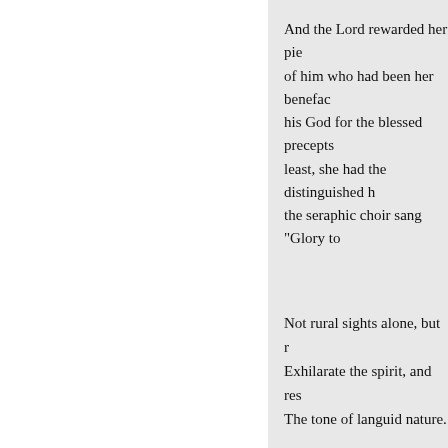And the Lord rewarded her pie of him who had been her benefac his God for the blessed precepts least, she had the distinguished h the seraphic choir sang "Glory to
Not rural sights alone, but r Exhilarate the spirit, and res The tone of languid nature.
There is a proverb which expr our subject. Not for its classic be When properly widened, this pro to his turn in the bitter and the sw
We mean to say that in the wir the cutting north-west wind; whi
« Zurück